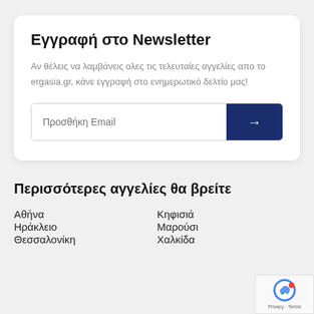Εγγραφή στο Newsletter
Αν θέλεις να λαμβάνεις ολες τις τελευταίες αγγελίες απο το ergasia.gr, κάνε εγγραφή στο ενημερωτικό δελτίο μας!
Περισσότερες αγγελίες θα βρείτε
Αθήνα
Κηφισιά
Ηράκλειο
Μαρούσι
Θεσσαλονίκη
Χαλκίδα